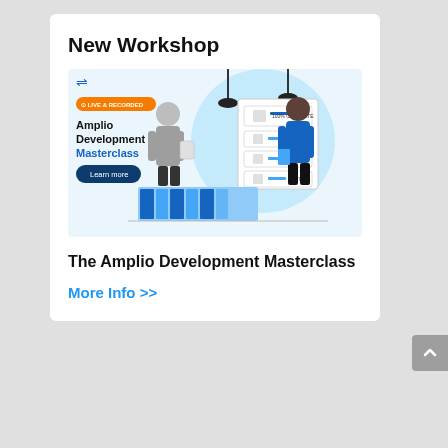New Workshop
[Figure (illustration): Promotional banner for the Amplio Development Masterclass showing two illustrated figures in an office setting with progress bars and a 'Learn more' button. Badge: LIVE & RECORDED.]
The Amplio Development Masterclass
More Info >>